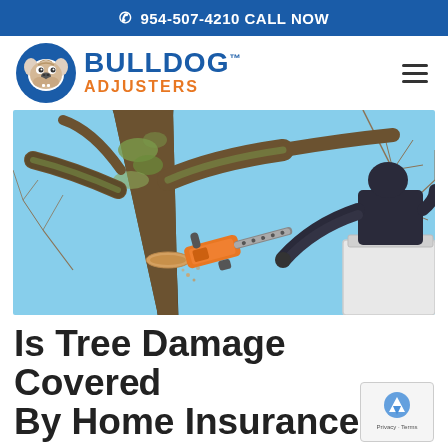☎ 954-507-4210 CALL NOW
[Figure (logo): Bulldog Adjusters logo with blue circle containing bulldog face, BULLDOG in blue bold text with TM mark, ADJUSTERS in orange text below]
[Figure (photo): A person using an orange chainsaw to cut a large tree branch while elevated in a bucket truck, blue sky background with bare tree branches]
Is Tree Damage Covered By Home Insurance?